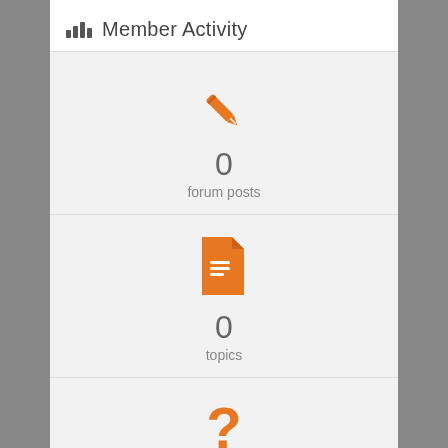Member Activity
[Figure (infographic): Orange pencil icon above '0 forum posts']
0
forum posts
[Figure (infographic): Orange document/file icon above '0 topics']
0
topics
[Figure (infographic): Orange question mark icon above '0 questions']
0
questions